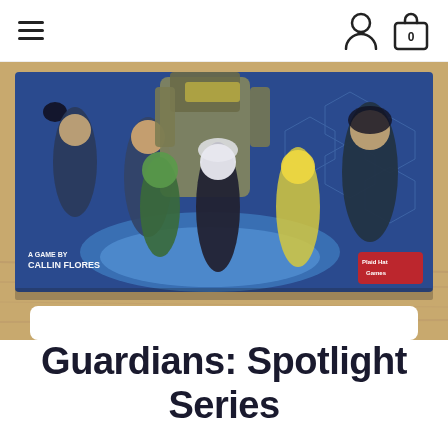Navigation bar with hamburger menu, user account icon, and shopping cart (0)
[Figure (photo): Photo of the Guardians: Spotlight Series board game box by Plaid Hat Games. The box art shows multiple superhero/sci-fi characters in an action pose on a blue background with hexagonal patterns. Text on the box reads 'A GAME BY CALLIN FLORES' and the Plaid Hat Games logo is in the bottom right. The box is resting on a wooden table.]
Guardians: Spotlight Series